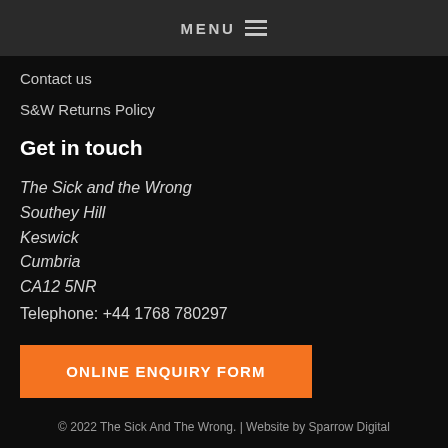MENU ≡
Contact us
S&W Returns Policy
Get in touch
The Sick and the Wrong
Southey Hill
Keswick
Cumbria
CA12 5NR
Telephone: +44 1768 780297
ONLINE ENQUIRY FORM
© 2022 The Sick And The Wrong. | Website by Sparrow Digital